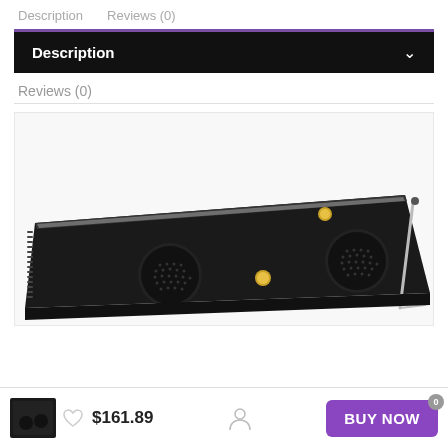Description   Reviews (0)
Description
Reviews (0)
[Figure (photo): Back view of a black digital photo frame showing two circular speakers, a tripod screw mount, a stand/kickstand on the right, and ventilation slots on the left side. The device is angled slightly showing its depth.]
$161.89
BUY NOW